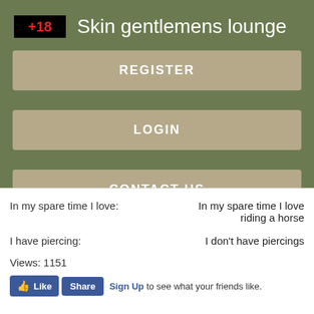+18 Skin gentlemens lounge
REGISTER
LOGIN
CONTACT US
| In my spare time I love: | In my spare time I love riding a horse |
| I have piercing: | I don't have piercings |
Views: 1151
Like Share Sign Up to see what your friends like.